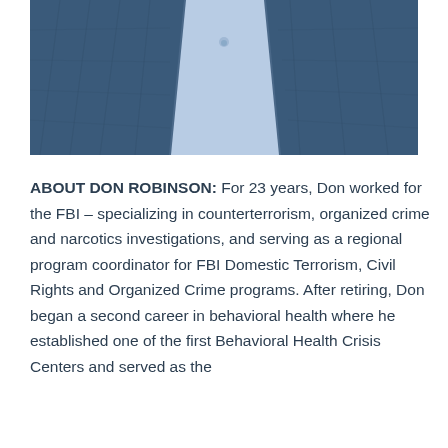[Figure (photo): Close-up photo of a man wearing a dark blue checkered blazer over a light blue dress shirt, visible from chest down to collar area.]
ABOUT DON ROBINSON: For 23 years, Don worked for the FBI – specializing in counterterrorism, organized crime and narcotics investigations, and serving as a regional program coordinator for FBI Domestic Terrorism, Civil Rights and Organized Crime programs. After retiring, Don began a second career in behavioral health where he established one of the first Behavioral Health Crisis Centers and served as the